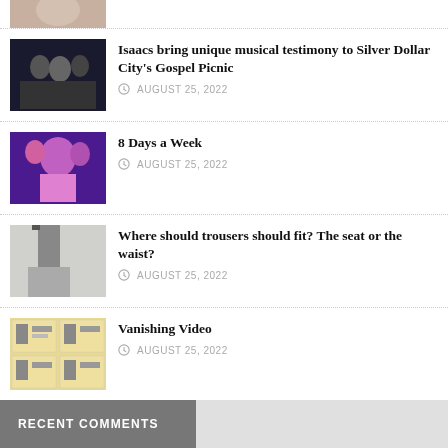[Figure (photo): Partial thumbnail of an article image at top of page]
Isaacs bring unique musical testimony to Silver Dollar City's Gospel Picnic
AUGUST 25, 2022
[Figure (photo): Thumbnail of performers on stage]
8 Days a Week
AUGUST 25, 2022
[Figure (photo): Thumbnail of person in trousers]
Where should trousers should fit? The seat or the waist?
AUGUST 25, 2022
[Figure (photo): Thumbnail of comic strip or video grid]
Vanishing Video
AUGUST 25, 2022
MORE ARTICLES
RECENT COMMENTS